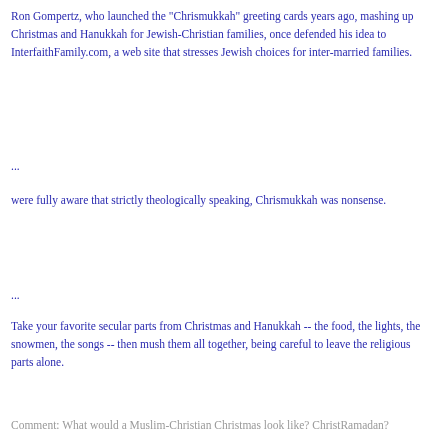Ron Gompertz, who launched the "Chrismukkah" greeting cards years ago, mashing up Christmas and Hanukkah for Jewish-Christian families, once defended his idea to InterfaithFamily.com, a web site that stresses Jewish choices for inter-married families.
...
were fully aware that strictly theologically speaking, Chrismukkah was nonsense.
...
Take your favorite secular parts from Christmas and Hanukkah -- the food, the lights, the snowmen, the songs -- then mush them all together, being careful to leave the religious parts alone.
Comment: What would a Muslim-Christian Christmas look like? ChristRamadan?